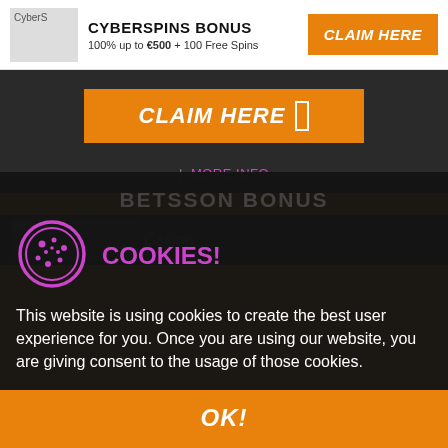CYBERSPINS BONUS — 100% up to €500 + 100 Free Spins — CLAIM HERE
[Figure (screenshot): CLAIM HERE button with cursor icon on dark background]
| MORE INFO
[Figure (logo): betsson Casino logo on dark background]
BETSSON BONUS
[Figure (other): Cookie icon - circular dotted cookie illustration]
COOKIES!
This website is using cookies to create the best user experience for you. Once you are using our website, you are giving consent to the usage of those cookies.
OK!